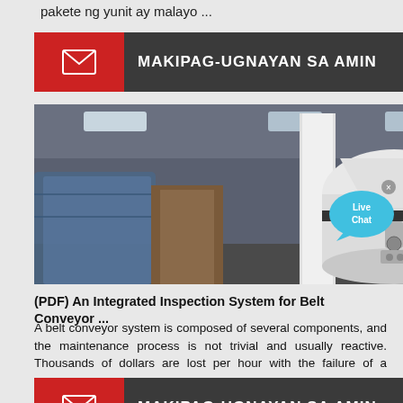pakete ng yunit ay malayo ...
[Figure (other): Red and dark contact bar with envelope icon and text MAKIPAG-UGNAYAN SA AMIN (top)]
[Figure (photo): Industrial machinery (grinding/milling machine) inside a warehouse, showing a large white vertical mill surrounded by yellow and brown equipment and blue plastic-wrapped items]
[Figure (other): Live Chat speech bubble icon in cyan/blue]
(PDF) An Integrated Inspection System for Belt Conveyor ...
A belt conveyor system is composed of several components, and the maintenance process is not trivial and usually reactive. Thousands of dollars are lost per hour with the failure of a conveyor ...
[Figure (other): Red and dark contact bar with envelope icon and text MAKIPAG-UGNAYAN SA AMIN (bottom)]